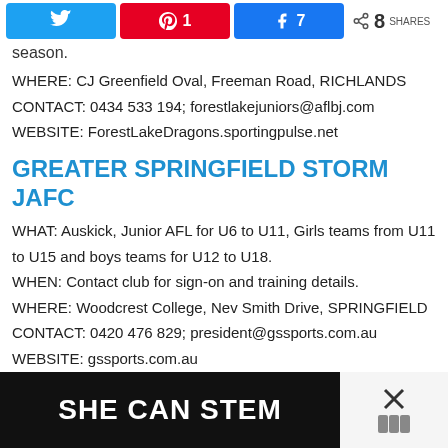[Figure (infographic): Social sharing bar with Twitter, Pinterest (1), Facebook (7) buttons, and share count showing 8 SHARES]
season.
WHERE: CJ Greenfield Oval, Freeman Road, RICHLANDS
CONTACT: 0434 533 194; forestlakejuniors@aflbj.com
WEBSITE: ForestLakeDragons.sportingpulse.net
GREATER SPRINGFIELD STORM JAFC
WHAT: Auskick, Junior AFL for U6 to U11, Girls teams from U11 to U15 and boys teams for U12 to U18.
WHEN: Contact club for sign-on and training details.
WHERE: Woodcrest College, Nev Smith Drive, SPRINGFIELD
CONTACT: 0420 476 829; president@gssports.com.au
WEBSITE: gssports.com.au
[Figure (infographic): Advertisement banner with dark background reading SHE CAN STEM with a close/X button on the right]